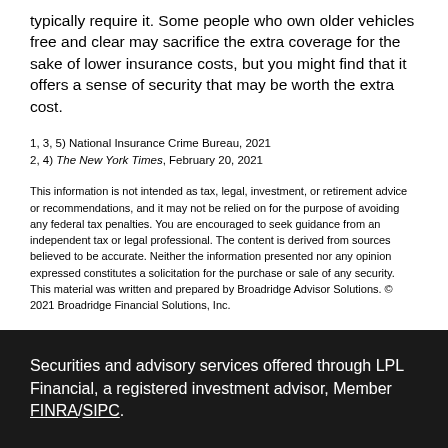typically require it. Some people who own older vehicles free and clear may sacrifice the extra coverage for the sake of lower insurance costs, but you might find that it offers a sense of security that may be worth the extra cost.
1, 3, 5) National Insurance Crime Bureau, 2021
2, 4) The New York Times, February 20, 2021
This information is not intended as tax, legal, investment, or retirement advice or recommendations, and it may not be relied on for the purpose of avoiding any federal tax penalties. You are encouraged to seek guidance from an independent tax or legal professional. The content is derived from sources believed to be accurate. Neither the information presented nor any opinion expressed constitutes a solicitation for the purchase or sale of any security. This material was written and prepared by Broadridge Advisor Solutions. © 2021 Broadridge Financial Solutions, Inc.
Securities and advisory services offered through LPL Financial, a registered investment advisor, Member FINRA/SIPC.